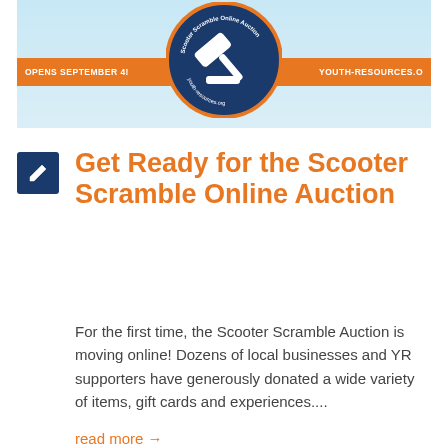[Figure (logo): Scooter Scramble Online Auction banner with circular logo featuring a gavel, orange bar with text 'OPENS SEPTEMBER 4!' on left and 'YOUTH-RESOURCES.O' on right, light blue background]
Get Ready for the Scooter Scramble Online Auction
For the first time, the Scooter Scramble Auction is moving online! Dozens of local businesses and YR supporters have generously donated a wide variety of items, gift cards and experiences....
read more →